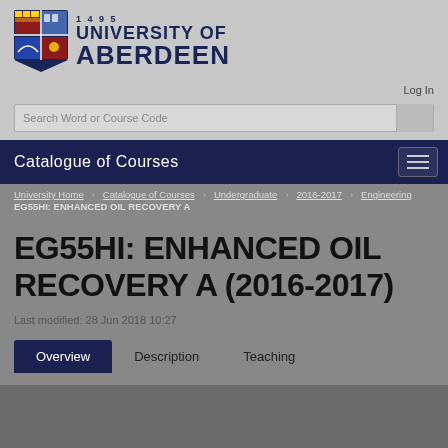[Figure (logo): University of Aberdeen shield crest logo with year 1495 and university name]
Log In
Search Word or Course Code
Catalogue of Courses
University Home   Catalogue of Courses   Undergraduate   2016-2017   Engineering   EG55HI: ENHANCED OIL RECOVERY A
EG55HI: ENHANCED OIL RECOVERY A (2016-2017)
Last modified: 28 Jun 2018 10:27
Overview   Description   Teaching